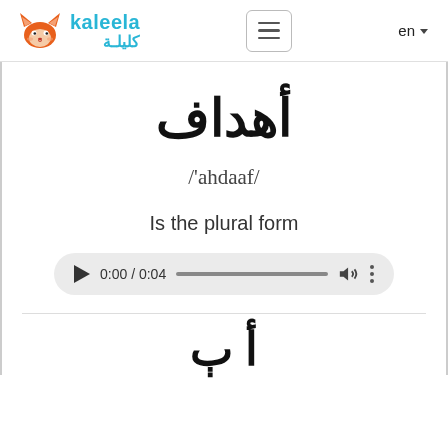kaleela كليلة  [hamburger menu]  en
أهداف
/'ahdaaf/
Is the plural form
[Figure (other): Audio player showing 0:00 / 0:04 with play button, progress bar, volume icon, and more options icon]
أ ٻ [partial Arabic word at bottom, cropped]